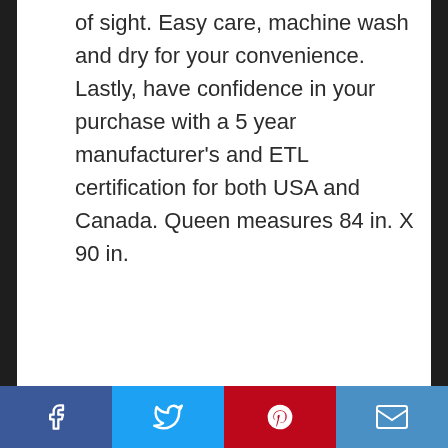of sight. Easy care, machine wash and dry for your convenience. Lastly, have confidence in your purchase with a 5 year manufacturer's and ETL certification for both USA and Canada. Queen measures 84 in. X 90 in.
4. [ADVANCED] Dual-Control Electric Blanket Queen Size, Plush Machine Washable Heated Blankets With Auto Shut Off, 20 Heat Level, Pre-Heat, UL Certified, EMF Radiation Safe, Lower Your Energy Bill, Blue
[Figure (other): Social media sharing bar with Facebook, Twitter, Pinterest, and Email buttons at the bottom of the page]